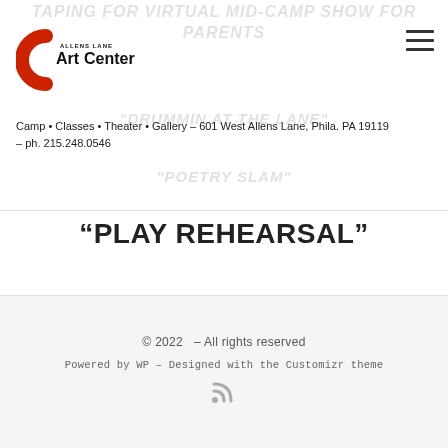TAPING FOR VIRTUAL MID-CAMP SHOW FOR PARENTS
[Figure (logo): Allens Lane Art Center logo with stylized 'C' shape in red and black text 'ArtCenter' with 'ALLENS LANE' above]
Camp • Classes • Theater • Gallery – 601 West Allens Lane, Phila. PA 19119 – ph. 215.248.0546
"DRUMMIN AT THE LANE"
"POETRY SLAM"
“PLAY REHEARSAL”
© 2022  – All rights reserved
Powered by WP – Designed with the Customizr theme